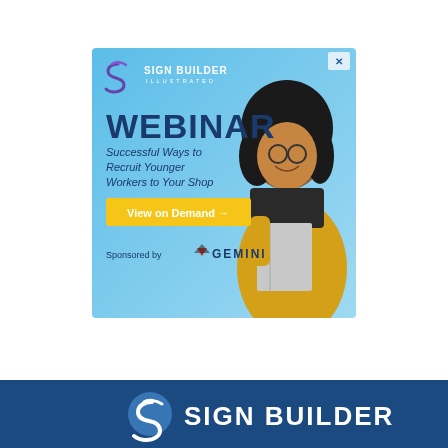[Figure (illustration): Advertisement banner for Sign Builder Illustrated Webinar titled 'Successful Ways to Recruit Younger Workers to Your Shop'. Features a blue gradient background, a young woman with glasses and curly hair wearing a yellow jacket holding a notebook, a yellow 'View on Demand' CTA button, and Gemini sponsorship logo. A close (X) button appears in the top-right corner.]
[Figure (logo): Sign Builder Illustrated logo in white on dark blue bar at the bottom of the page, with the 'S' swirl icon.]